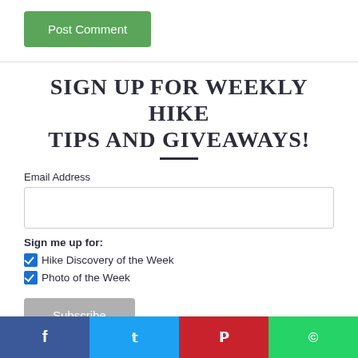[Figure (screenshot): Green 'Post Comment' button]
SIGN UP FOR WEEKLY HIKE TIPS AND GIVEAWAYS!
Email Address
Sign me up for:
Hike Discovery of the Week
Photo of the Week
[Figure (screenshot): Gray 'Subscribe' button]
[Figure (infographic): Social sharing bar with Facebook, Twitter, Pinterest, WhatsApp buttons]